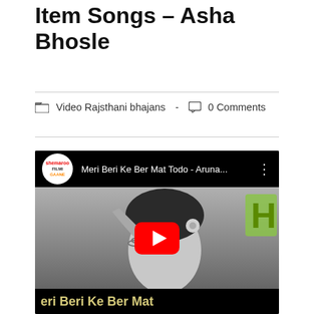Item Songs – Asha Bhosle
Video Rajsthani bhajans  -  0 Comments
[Figure (screenshot): YouTube video embed showing 'Meri Beri Ke Ber Mat Todo - Aruna...' with a black and white image of a woman, a red YouTube play button in the center, and the text 'eri Beri Ke Ber Mat' in gold at the bottom. The Shemaroo Filmi Gaane logo is in the top left corner.]